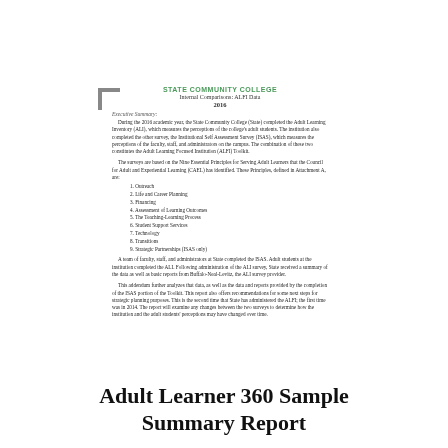STATE COMMUNITY COLLEGE
Internal Comparisons: ALFI Data
2016
Executive Summary:
During the 2016 academic year, the State Community College (State) completed the Adult Learning Inventory (ALI), which measures the perceptions of the college's adult students. The institution also completed the other survey, the Institutional Self Assessment Survey (ISAS), which measures the perceptions of the faculty, staff, and administrators on the campus. The combination of these two constitutes the Adult Learning Focused Institution (ALFI) Toolkit.
The surveys are based on the Nine Essential Principles for Serving Adult Learners that the Council for Adult and Experiential Learning (CAEL) has identified. These Principles, defined in Attachment A, are:
1. Outreach
2. Life and Career Planning
3. Financing
4. Assessment of Learning Outcomes
5. The Teaching-Learning Process
6. Student Support Services
7. Technology
8. Transitions
9. Strategic Partnerships (ISAS only)
A team of faculty, staff, and administrators at State completed the ISAS. Adult students at the institution completed the ALI. Following administration of the ALI survey, State received a summary of the data as well as basic reports from Buffalo-Neal-Levitz, the ALI survey provider.
This addendum further analyzes that data, as well as the data and reports provided by the completion of the ISAS portion of the Toolkit. This report also offers recommendations for some next steps for strategic planning purposes. This is the second time that State has administered the ALFI; the first time was in 2014. The report will examine any changes between the two surveys to determine how the institution and the adult students' perceptions may have changed over time.
-
Adult Learner 360 Sample Summary Report